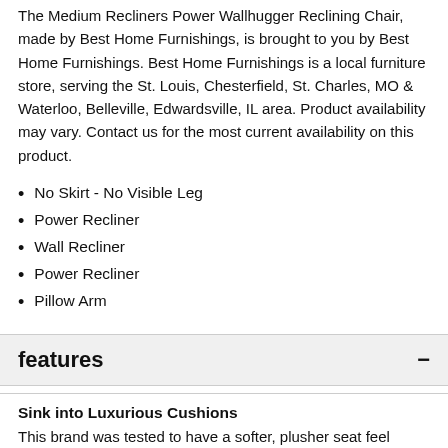The Medium Recliners Power Wallhugger Reclining Chair, made by Best Home Furnishings, is brought to you by Best Home Furnishings. Best Home Furnishings is a local furniture store, serving the St. Louis, Chesterfield, St. Charles, MO & Waterloo, Belleville, Edwardsville, IL area. Product availability may vary. Contact us for the most current availability on this product.
No Skirt - No Visible Leg
Power Recliner
Wall Recliner
Power Recliner
Pillow Arm
features
Sink into Luxurious Cushions
This brand was tested to have a softer, plusher seat feel